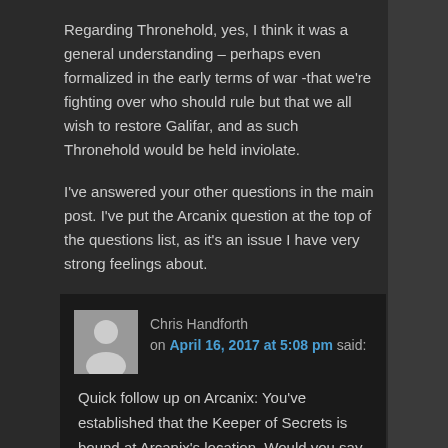Regarding Thronehold, yes, I think it was a general understanding – perhaps even formalized in the early terms of war -that we're fighting over who should rule but that we all wish to restore Galifar, and as such Thronehold would be held inviolate.
I've answered your other questions in the main post. I've put the Arcanix question at the top of the questions list, as it's an issue I have very strong feelings about.
Chris Handforth on April 16, 2017 at 5:08 pm said: Quick follow up on Arcanix: You've established that the Keeper of Secrets is bound at Arcanix's location. Would you say that she is